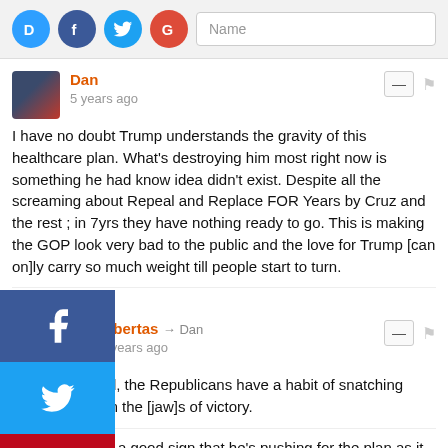[Figure (screenshot): Social login icons: Disqus (blue D), Facebook (blue f), Twitter (blue bird), Google (red G), and a Name input field]
Dan
5 years ago
I have no doubt Trump understands the gravity of this healthcare plan. What's destroying him most right now is something he had know idea didn't exist. Despite all the screaming about Repeal and Replace FOR Years by Cruz and the rest ; in 7yrs they have nothing ready to go. This is making the GOP look very bad to the public and the love for Trump [can on]ly carry so much weight till people start to turn.
Reply
Libertas → Dan
5 years ago
[as] noted, the Republicans have a habit of snatching defeat from the [jaw]s of victory.
It's not a good sign that he's pushing for the plan as it stands, but hopefully he's angling for a negotiation.
↓ ↑ Reply